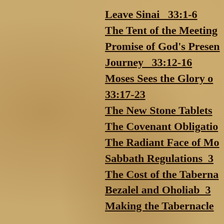Leave Sinai   33:1-6
The Tent of the Meeting
Promise of God's Presen
Journey   33:12-16
Moses Sees the Glory o
33:17-23
The New Stone Tablets
The Covenant Obligatio
The Radiant Face of Mo
Sabbath Regulations   3
The Cost of the Taberna
Bezalel and Oholiab   3
Making the Tabernacle